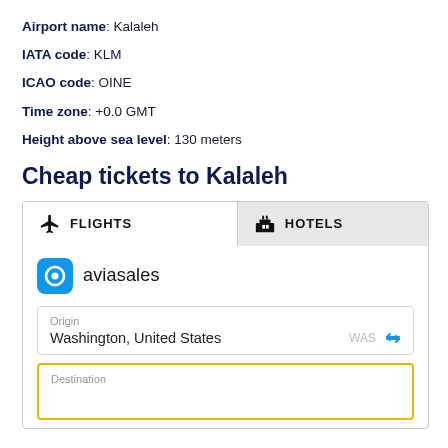Airport name: Kalaleh
IATA code: KLM
ICAO code: OINE
Time zone: +0.0 GMT
Height above sea level: 130 meters
Cheap tickets to Kalaleh
[Figure (screenshot): Flight and hotel booking widget from Aviasales. Shows tabs for FLIGHTS and HOTELS, Aviasales logo, an origin field with 'Washington, United States' and WAS code, and a Destination input field with yellow border.]